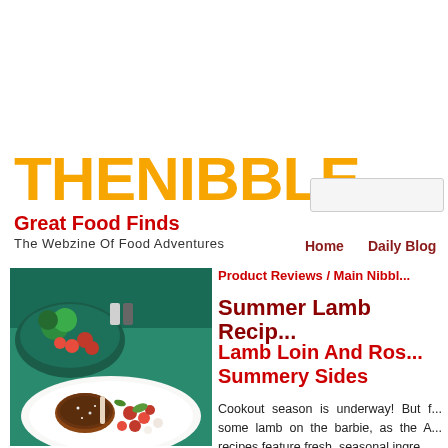[Figure (logo): THE NIBBLE logo in large orange bold letters, with 'Great Food Finds' in red and 'The Webzine Of Food Adventures' tagline below]
Home   Daily Blog
Product Reviews / Main Nibbl...
Summer Lamb Recip...
Lamb Loin And Ros... Summery Sides
[Figure (photo): Photo of grilled lamb loin chops with cherry tomatoes and fresh vegetables on a plate, with a bowl of vegetables in the background]
Cookout season is underway! But f... some lamb on the barbie, as the A... recipes feature fresh, seasonal ingre...